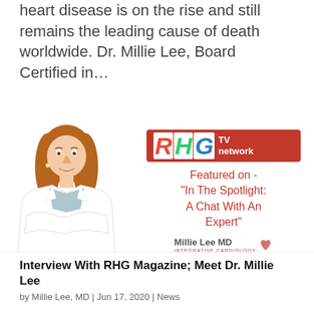heart disease is on the rise and still remains the leading cause of death worldwide. Dr. Millie Lee, Board Certified in…
[Figure (photo): Photo of Dr. Millie Lee in white coat with arms crossed, alongside RHG TV Network logo and text 'Featured on - "In The Spotlight: A Chat With An Expert"' with Millie Lee MD Integrative Cardiology branding]
Interview With RHG Magazine; Meet Dr. Millie Lee
by Millie Lee, MD | Jun 17, 2020 | News